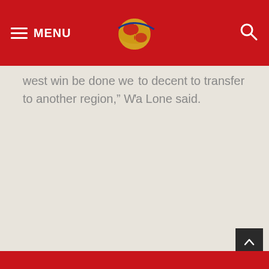MENU
west win be done we to decent to transfer to another region,” Wa Lone said.